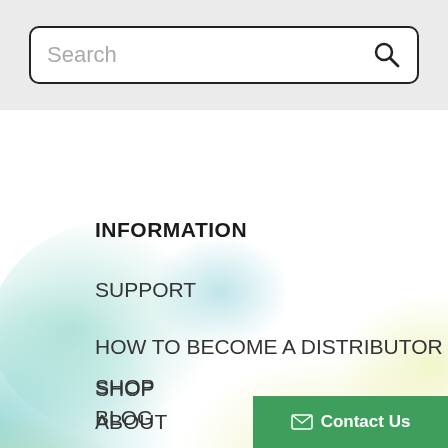Search
INFORMATION
SUPPORT
HOW TO BECOME A DISTRIBUTOR
SHOP
ABOUT
BLOG
[Figure (illustration): Watercolor background with teal, green, and yellow soft color washes in the lower portion of the page]
Contact Us